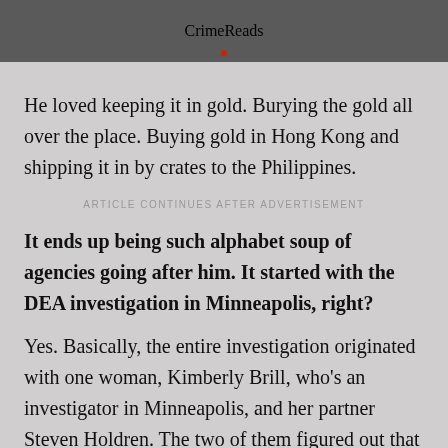CrimeReads
He loved keeping it in gold. Burying the gold all over the place. Buying gold in Hong Kong and shipping it in by crates to the Philippines.
ARTICLE CONTINUES AFTER ADVERTISEMENT
It ends up being such alphabet soup of agencies going after him. It started with the DEA investigation in Minneapolis, right?
Yes. Basically, the entire investigation originated with one woman, Kimberly Brill, who's an investigator in Minneapolis, and her partner Steven Holdren. The two of them figured out that one of the pharmacists who